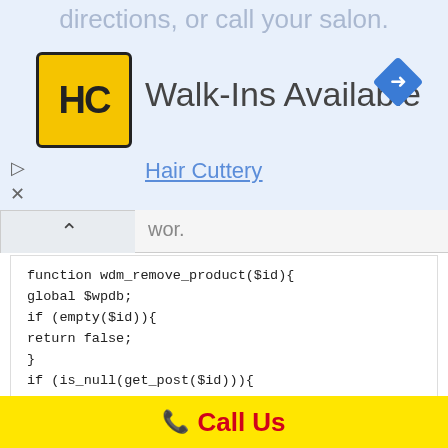[Figure (screenshot): Ad banner showing Hair Cuttery logo with 'Walk-Ins Available' text and navigation icon]
directions, or call your salon.
Walk-Ins Available
Hair Cuttery
wor.
[Figure (screenshot): Code block showing PHP function wdm_remove_product]
function wdm_remove_product($id){
global $wpdb;
if (empty($id)){
return false;
}
if (is_null(get_post($id))){
return false;
}
$pr_value =
get_post_meta($id,'wdm_product_remove_date-value',true);
// wp_delete_post($pr_value) ; //This will delete product
$wpdb->query("Update $wpdb->posts set
post_status='draft' where ID='$id'");// Change status to
Call Us